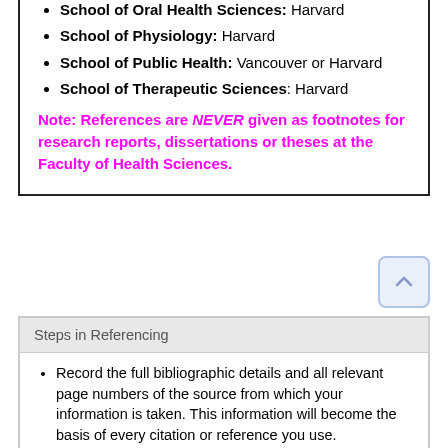School of Oral Health Sciences: Harvard
School of Physiology: Harvard
School of Public Health: Vancouver or Harvard
School of Therapeutic Sciences: Harvard
Note: References are NEVER given as footnotes for research reports, dissertations or theses at the Faculty of Health Sciences.
Steps in Referencing
Record the full bibliographic details and all relevant page numbers of the source from which your information is taken. This information will become the basis of every citation or reference you use.
Punctuation marks, spelling, and spaces in references are extremely important and must be applied consistently throughout.
In-text citations mean that you insert the consecutive numerical citation at the appropriate place in the text of your